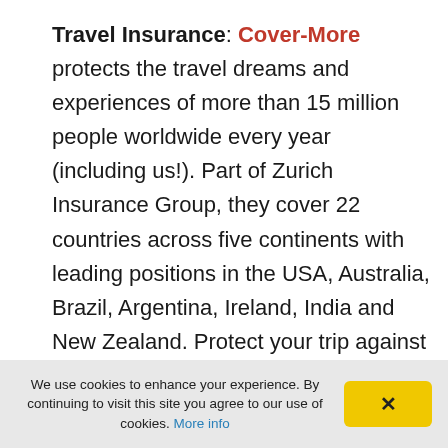Travel Insurance: Cover-More protects the travel dreams and experiences of more than 15 million people worldwide every year (including us!). Part of Zurich Insurance Group, they cover 22 countries across five continents with leading positions in the USA, Australia, Brazil, Argentina, Ireland, India and New Zealand. Protect your trip against …COVID-19…
We use cookies to enhance your experience. By continuing to visit this site you agree to our use of cookies. More info